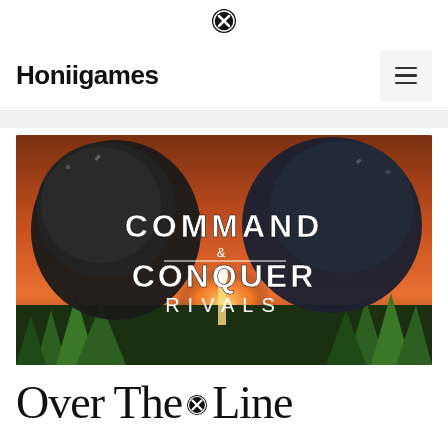Honiigames
[Figure (screenshot): Command & Conquer: Rivals game promotional image showing two armored soldiers facing each other with the game title text overlaid]
Over The Line